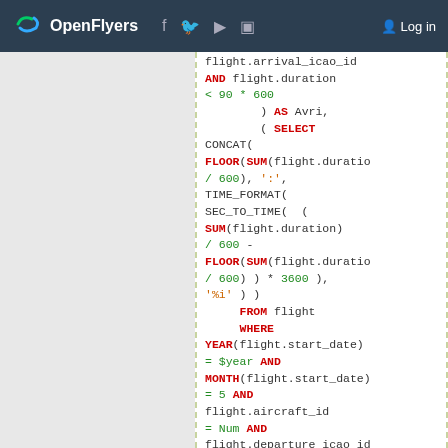OpenFlyers | Log in
[Figure (screenshot): SQL code block showing a query with FLOOR, SUM, CONCAT, TIME_FORMAT, SEC_TO_TIME functions and WHERE clause filtering by YEAR, MONTH, aircraft_id, departure_icao_id, arrival_icao_id, and flight.duration]